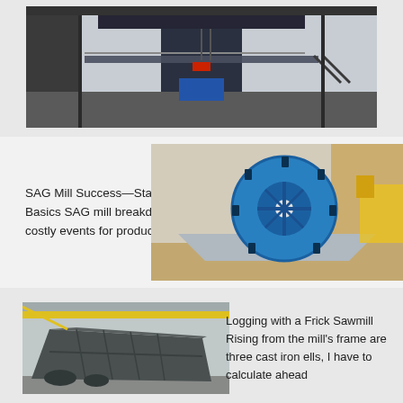[Figure (photo): Industrial milling/crushing equipment inside a large factory hall, overhead structure visible, dark machinery with walkways.]
SAG Mill Success—Start with the Basics SAG mill breakdowns are costly events for producers.
[Figure (photo): Large blue sand washing wheel/bucket elevator machine sitting outdoors on bare ground, with yellow construction equipment in background.]
[Figure (photo): Heavy industrial steel vibrating screen or conveyor equipment on a factory floor with yellow overhead crane visible.]
Logging with a Frick Sawmill Rising from the mill's frame are three cast iron ells, I have to calculate ahead